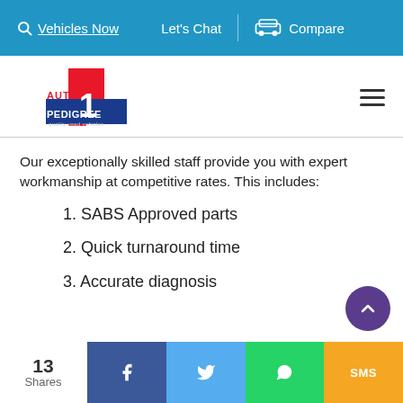Vehicles Now | Let's Chat | Compare
[Figure (logo): 1 Auto Pedigree logo — quality used vehicles. You deserve a great deal!]
Our exceptionally skilled staff provide you with expert workmanship at competitive rates. This includes:
1. SABS Approved parts
2. Quick turnaround time
3. Accurate diagnosis
13 Shares | Facebook | Twitter | WhatsApp | SMS